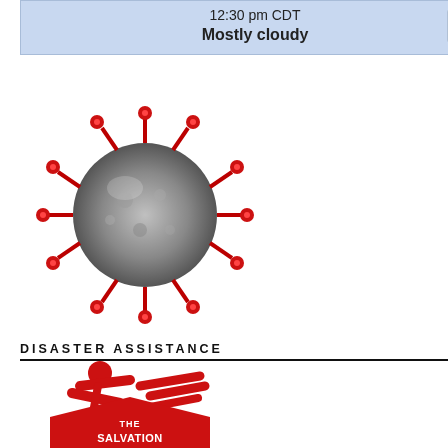12:30 pm CDT
Mostly cloudy
[Figure (illustration): Coronavirus particle illustration, grey and red spiky ball]
DISASTER ASSISTANCE
[Figure (logo): Médecins Sans Frontières (MSF) logo — red figure with red cross pattern]
[Figure (logo): The Salvation Army shield logo in red]
in most law. That is why I said that manslaughter current Florida law — Zimmerman had a grounds were arguably his property (partly duty to retreat under current Florida law.
In other words, yes, we can prove Zimmerman hypothetical reasonable man would do. But — that Zimmerman could not be convicted Florida law — was a reasonable one. And a manslaughter case into a murder case? T of that car with the intent to murder Trayv
[Figure (illustration): South Park Cartman character avatar wearing blue police hat]
Bryan { 07.16.13 at 8:16 pm }
Actually, Hipparchia, the prime mover wa Esq., NRA, GOP, who from 2000 to 2010 "Stand Your Ground", he wrote "The OK Glock"]. He was the prime mover for all c
Badtux, 'over your way' was directed at H